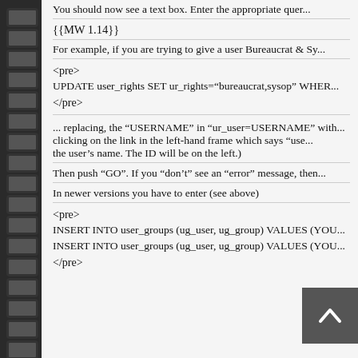You should now see a text box. Enter the appropriate quer...
{{MW 1.14}}
For example, if you are trying to give a user Bureaucrat & Sy...
<pre>
UPDATE user_rights SET ur_rights="bureaucrat,sysop" WHER...
</pre>
... replacing, the "USERNAME" in "ur_user=USERNAME" with ... clicking on the link in the left-hand frame which says "use... the user's name. The ID will be on the left.)
Then push "GO". If you "don't" see an "error" message, then...
In newer versions you have to enter (see above)
<pre>
INSERT INTO user_groups (ug_user, ug_group) VALUES (YOU...
INSERT INTO user_groups (ug_user, ug_group) VALUES (YOU...
</pre>